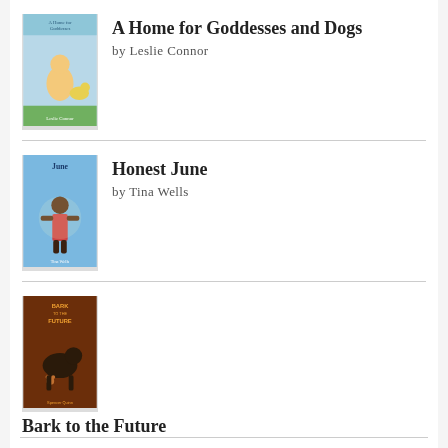[Figure (illustration): Book cover for 'A Home for Goddesses and Dogs' by Leslie Connor]
A Home for Goddesses and Dogs
by Leslie Connor
[Figure (illustration): Book cover for 'Honest June' by Tina Wells]
Honest June
by Tina Wells
[Figure (illustration): Book cover for 'Bark to the Future' by Spencer Quinn]
Bark to the Future
by Spencer Quinn
Spencer Quinn's Chet and Bernie series is the book release I look forward to all year long. From the moment I finish one book, I'm nearly desperate to lay my hands on the next one. The thirteenth installment in the fabulous and famous ...
[Figure (illustration): Book cover for 'Tight' by Torrey Maldonado]
Tight
by Torrey Maldonado